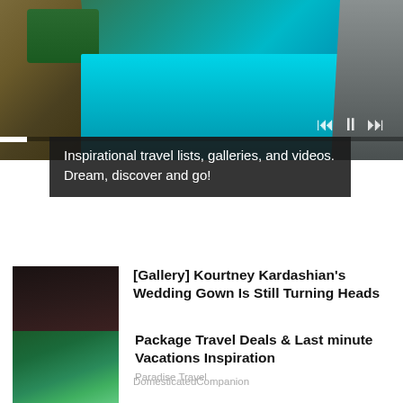[Figure (photo): Aerial view of a coastal scene with turquoise water, rocky cliffs, and vegetation. Video player controls visible at bottom right.]
Inspirational travel lists, galleries, and videos. Dream, discover and go!
[Figure (photo): Photo of Kourtney Kardashian in a white wedding gown with a man in a black suit.]
[Gallery] Kourtney Kardashian's Wedding Gown Is Still Turning Heads
DomesticatedCompanion
[Figure (photo): Tropical resort pool with palm trees and a breakfast spread in the foreground.]
Package Travel Deals & Last minute Vacations Inspiration
Paradise Travel